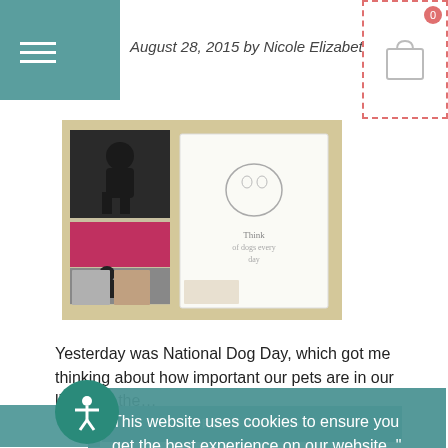August 28, 2015 by Nicole Elizabeth
[Figure (photo): Collage of dog-themed greeting cards and stationery items on a yellow surface. Includes black dog silhouettes and illustrated dog artwork.]
Yesterday was National Dog Day, which got me thinking about how important our pets are in our lives. As the...
READ MORE »
The Power of Thank You
Posted August 12, 2015 by Nicole Elizabeth
This website uses cookies to ensure you get the best experience on our website.
Learn More
Got it!